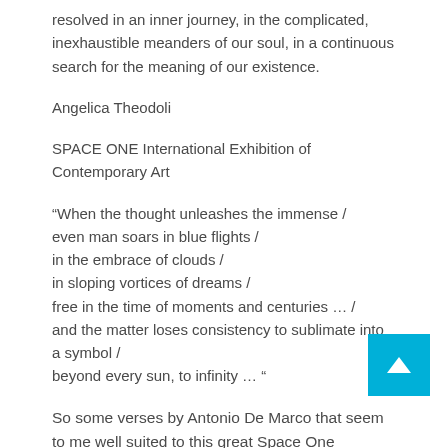resolved in an inner journey, in the complicated, inexhaustible meanders of our soul, in a continuous search for the meaning of our existence.
Angelica Theodoli
SPACE ONE International Exhibition of Contemporary Art
“When the thought unleashes the immense /
even man soars in blue flights /
in the embrace of clouds /
in sloping vortices of dreams /
free in the time of moments and centuries … /
and the matter loses consistency to sublimate into a symbol /
beyond every sun, to infinity … “
So some verses by Antonio De Marco that seem to me well suited to this great Space One International Competition –